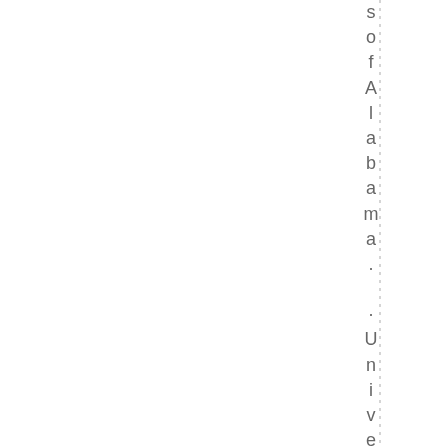s o f Alabama . University of N